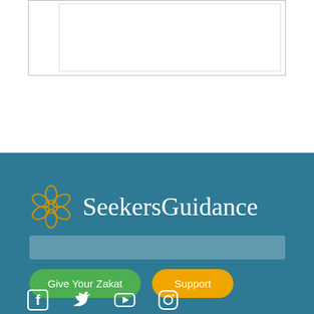[Figure (other): White content area with nested border box at top of page]
[Figure (logo): SeekersGuidance logo with golden geometric flower icon and white text on teal background]
[Figure (other): Search bar input field with semi-transparent white background on teal footer]
Give Your Zakat
Support
[Figure (other): Social media icons: Facebook, Twitter, YouTube, Instagram in white on teal background]